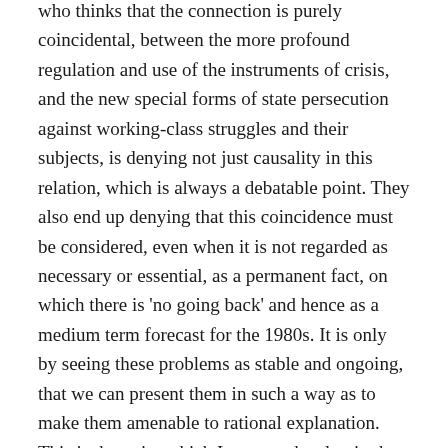who thinks that the connection is purely coincidental, between the more profound regulation and use of the instruments of crisis, and the new special forms of state persecution against working-class struggles and their subjects, is denying not just causality in this relation, which is always a debatable point. They also end up denying that this coincidence must be considered, even when it is not regarded as necessary or essential, as a permanent fact, on which there is 'no going back' and hence as a medium term forecast for the 1980s. It is only by seeing these problems as stable and ongoing, that we can present them in such a way as to make them amenable to rational explanation. This is the point which I want to develop in the following two sections.
What does this accentuation of the crisis-state form